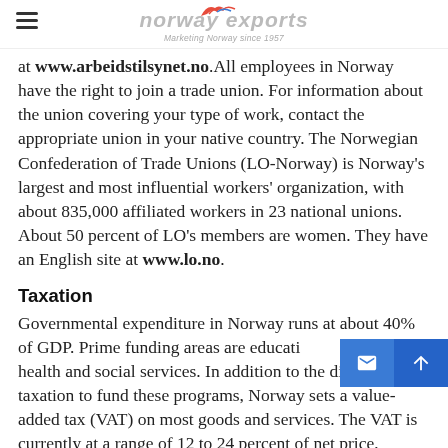norway exports — Marketing Norway since 1957
at www.arbeidstilsynet.no.All employees in Norway have the right to join a trade union. For information about the union covering your type of work, contact the appropriate union in your native country. The Norwegian Confederation of Trade Unions (LO-Norway) is Norway's largest and most influential workers' organization, with about 835,000 affiliated workers in 23 national unions. About 50 percent of LO's members are women. They have an English site at www.lo.no.
Taxation
Governmental expenditure in Norway runs at about 40% of GDP. Prime funding areas are education, health and social services. In addition to the direct taxation to fund these programs, Norway sets a value-added tax (VAT) on most goods and services. The VAT is currently at a range of 12 to 24 percent of net price, depending on the good or service.All workers will require a tax card, which can be obtained...